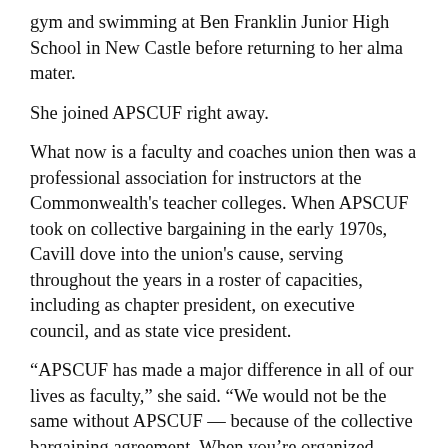gym and swimming at Ben Franklin Junior High School in New Castle before returning to her alma mater.
She joined APSCUF right away.
What now is a faculty and coaches union then was a professional association for instructors at the Commonwealth's teacher colleges. When APSCUF took on collective bargaining in the early 1970s, Cavill dove into the union's cause, serving throughout the years in a roster of capacities, including as chapter president, on executive council, and as state vice president.
“APSCUF has made a major difference in all of our lives as faculty,” she said. “We would not be the same without APSCUF — because of the collective bargaining agreement. When you’re organized, there’s power.”